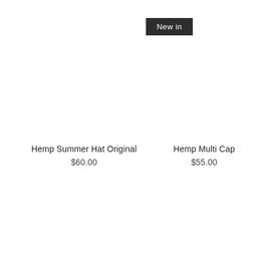New in
Hemp Summer Hat Original
$60.00
Hemp Multi Cap
$55.00